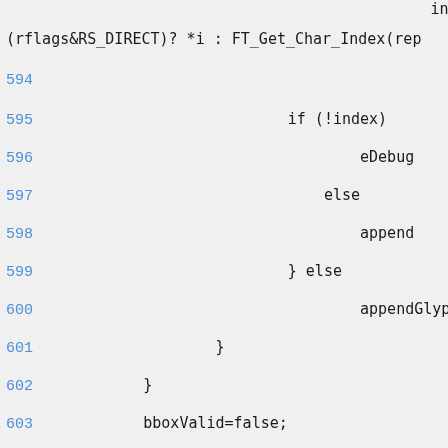index=
(rflags&RS_DIRECT)? *i : FT_Get_Char_Index(rep
594
595                                 if (!index)
596                                         eDebug
597                                     else
598                                         append
599                                 } else
600                                         appendGlyph(c
601                         }
602             }
603             bboxValid=false;
604             calc_bbox();
605 #ifdef HAVE_FRIBIDI
606             if (dir & FRIBIDI_MASK_RTL)
607                 realign(dirRight);